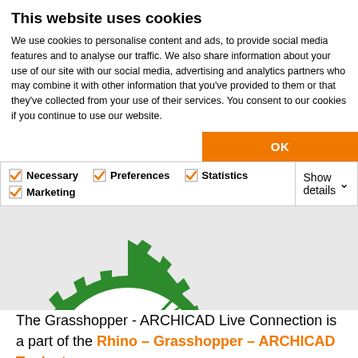This website uses cookies
We use cookies to personalise content and ads, to provide social media features and to analyse our traffic. We also share information about your use of our site with our social media, advertising and analytics partners who may combine it with other information that you've provided to them or that they've collected from your use of their services. You consent to our cookies if you continue to use our website.
OK
Necessary  Preferences  Statistics  Marketing  Show details
[Figure (logo): Green gear/cog logo with a grasshopper silhouette inside, Grasshopper-ARCHICAD logo]
The Grasshopper - ARCHICAD Live Connection is a part of the Rhino – Grasshopper – ARCHICAD Toolset.